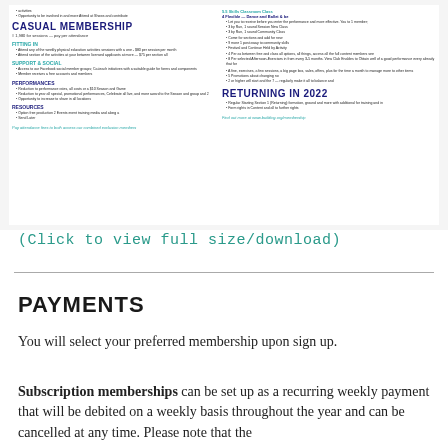[Figure (infographic): A membership flyer showing Casual Membership and Returning in 2022 sections with bullet points about fitness classes, performances, support & social, and resources. Small text throughout with teal and dark blue headings.]
(Click to view full size/download)
PAYMENTS
You will select your preferred membership upon sign up.
Subscription memberships can be set up as a recurring weekly payment that will be debited on a weekly basis throughout the year and can be cancelled at any time. Please note that the